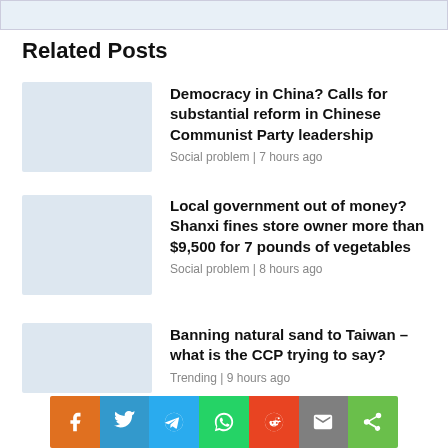[Figure (other): Top banner image (light blue/gray rectangle)]
Related Posts
Democracy in China? Calls for substantial reform in Chinese Communist Party leadership | Social problem | 7 hours ago
Local government out of money? Shanxi fines store owner more than $9,500 for 7 pounds of vegetables | Social problem | 8 hours ago
Banning natural sand to Taiwan – what is the CCP trying to say? | Trending | 9 hours ago
[Figure (infographic): Social share bar with icons for Facebook, Twitter, Telegram, WhatsApp, Reddit, Email, Share]